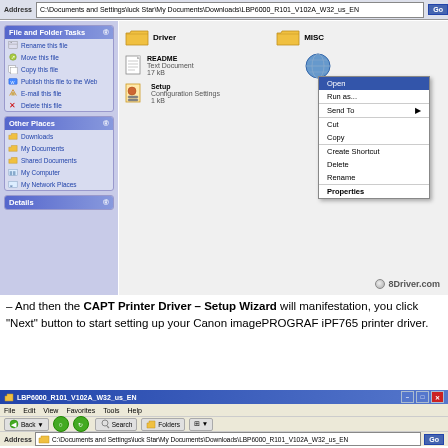[Figure (screenshot): Windows XP Explorer window showing LBP6000 driver folder contents with context menu open showing Open, Run as, Send To, Cut, Copy, Create Shortcut, Delete, Rename, Properties options. Left panel shows File and Folder Tasks and Other Places sections. Address bar shows C:\Documents and Settings\luck Star\My Documents\Downloads\LBP6000_R101_V102A_W32_us_EN. Watermark: 8Driver.com]
– And then the CAPT Printer Driver – Setup Wizard will manifestation, you click "Next" button to start setting up your Canon imagePROGRAF iPF765 printer driver.
[Figure (screenshot): Windows XP Explorer window title bar and toolbar showing LBP6000_R101_V102A_W32_us_EN with Back, Search, Folders buttons and address bar showing C:\Documents and Settings\luck Star\My Documents\Downloads\LBP6000_R101_V102A_W32_us_EN]